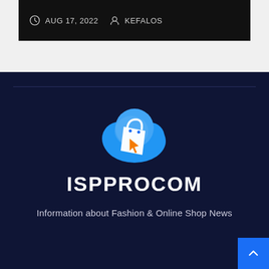AUG 17, 2022   KEFALOS
[Figure (logo): ISPPROCOM logo: a blue cloud with a white shopping bag and orange cursor arrow inside]
ISPPROCOM
Information about Fashion & Online Shop News